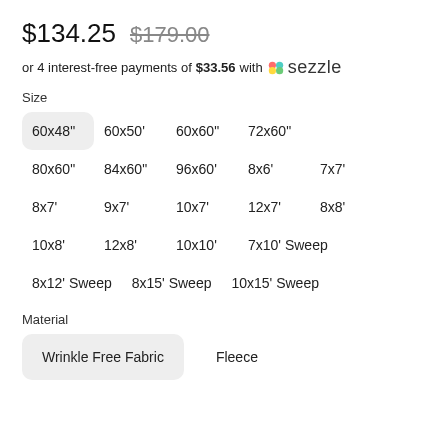$134.25  $179.00 (strikethrough)
or 4 interest-free payments of $33.56 with Sezzle
Size
60x48" (selected), 60x50', 60x60", 72x60"
80x60", 84x60", 96x60", 8x6', 7x7'
8x7', 9x7', 10x7', 12x7', 8x8'
10x8', 12x8', 10x10', 7x10' Sweep
8x12' Sweep, 8x15' Sweep, 10x15' Sweep
Material
Wrinkle Free Fabric (selected), Fleece